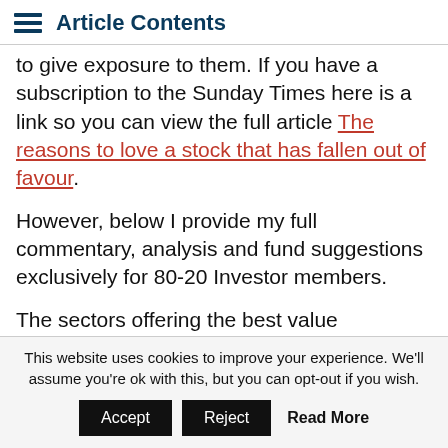Article Contents
to give exposure to them. If you have a subscription to the Sunday Times here is a link so you can view the full article The reasons to love a stock that has fallen out of favour.
However, below I provide my full commentary, analysis and fund suggestions exclusively for 80-20 Investor members.
The sectors offering the best value opportunities With the market still down more than 10% from
This website uses cookies to improve your experience. We'll assume you're ok with this, but you can opt-out if you wish.
Accept  Reject  Read More